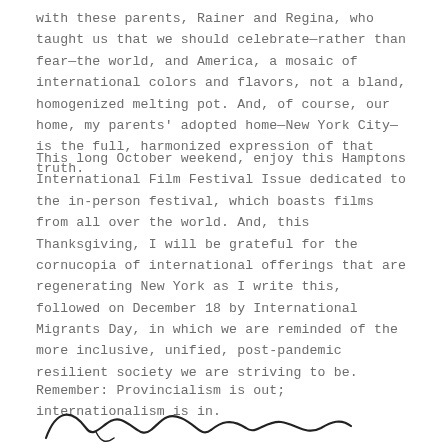with these parents, Rainer and Regina, who taught us that we should celebrate—rather than fear—the world, and America, a mosaic of international colors and flavors, not a bland, homogenized melting pot. And, of course, our home, my parents' adopted home—New York City—is the full, harmonized expression of that truth.
This long October weekend, enjoy this Hamptons International Film Festival Issue dedicated to the in-person festival, which boasts films from all over the world. And, this Thanksgiving, I will be grateful for the cornucopia of international offerings that are regenerating New York as I write this, followed on December 18 by International Migrants Day, in which we are reminded of the more inclusive, unified, post-pandemic resilient society we are striving to be.
Remember: Provincialism is out; internationalism is in.
[Figure (illustration): Cursive signature in black ink]